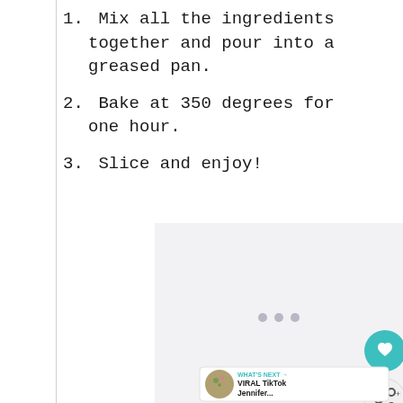1. Mix all the ingredients together and pour into a greased pan.
2. Bake at 350 degrees for one hour.
3. Slice and enjoy!
[Figure (other): Advertisement placeholder box with three loading dots in the center. Below it are social media action buttons (heart/favorite and share) and a 'WHAT'S NEXT' banner showing a food thumbnail and text 'VIRAL TikTok Jennifer...']